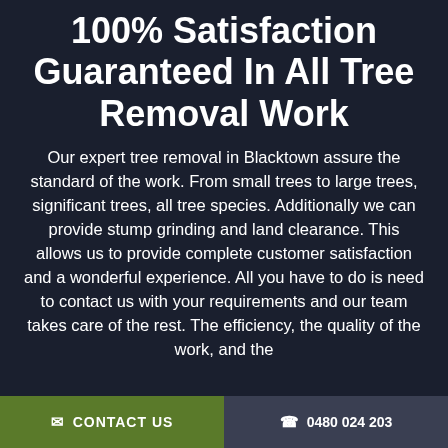100% Satisfaction Guaranteed In All Tree Removal Work
Our expert tree removal in Blacktown assure the standard of the work. From small trees to large trees, significant trees, all tree species. Additionally we can provide stump grinding and land clearance. This allows us to provide complete customer satisfaction and a wonderful experience. All you have to do is need to contact us with your requirements and our team takes care of the rest. The efficiency, the quality of the work, and the
✉ CONTACT US   📞 0480 024 203